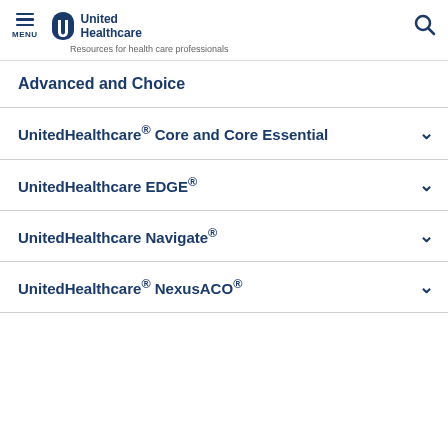MENU | United Healthcare | Resources for health care professionals
Advanced and Choice
UnitedHealthcare® Core and Core Essential
UnitedHealthcare EDGE®
UnitedHealthcare Navigate®
UnitedHealthcare® NexusACO®